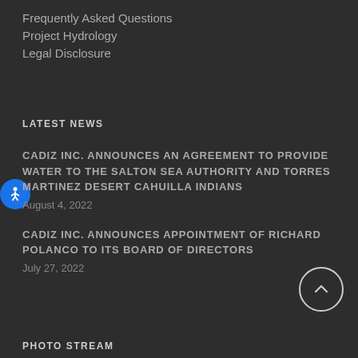Frequently Asked Questions
Project Hydrology
Legal Disclosure
LATEST NEWS
CADIZ INC. ANNOUNCES AN AGREEMENT TO PROVIDE WATER TO THE SALTON SEA AUTHORITY AND TORRES MARTINEZ DESERT CAHUILLA INDIANS
August 4, 2022
CADIZ INC. ANNOUNCES APPOINTMENT OF RICHARD POLANCO TO ITS BOARD OF DIRECTORS
July 27, 2022
PHOTO STREAM